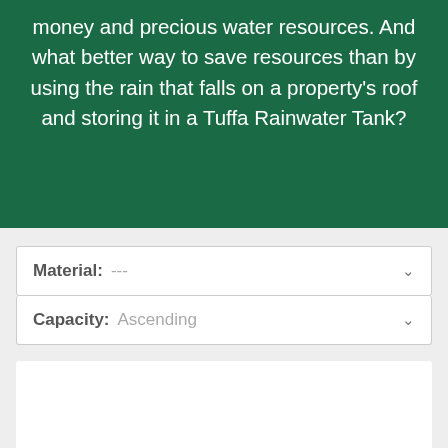money and precious water resources. And what better way to save resources than by using the rain that falls on a property's roof and storing it in a Tuffa Rainwater Tank?
Material: ---
Capacity: Ascending